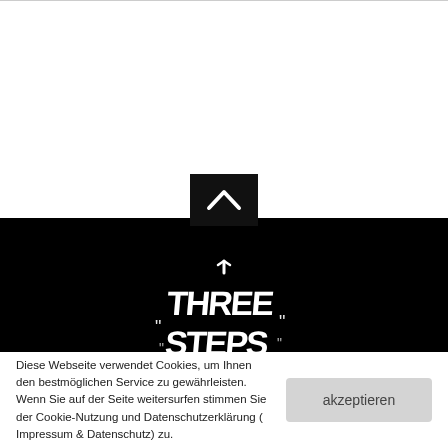[Figure (logo): Black banner section with graffiti-style 'Three Steps Ahead' logo in white on black background, with an up-arrow navigation button above it and five social media icons (Twitter, Facebook, Instagram, Wikipedia, Google+) below]
Diese Webseite verwendet Cookies, um Ihnen den bestmöglichen Service zu gewährleisten. Wenn Sie auf der Seite weitersurfen stimmen Sie der Cookie-Nutzung und Datenschutzerklärung ( Impressum & Datenschutz) zu.
akzeptieren